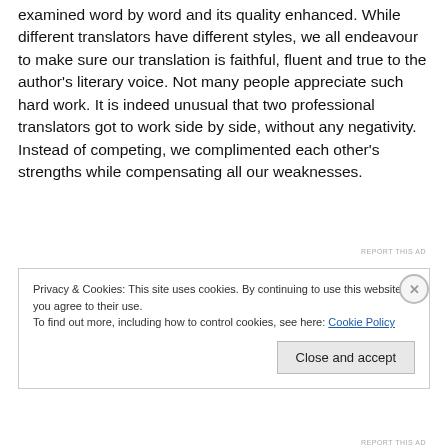examined word by word and its quality enhanced. While different translators have different styles, we all endeavour to make sure our translation is faithful, fluent and true to the author's literary voice. Not many people appreciate such hard work. It is indeed unusual that two professional translators got to work side by side, without any negativity. Instead of competing, we complimented each other's strengths while compensating all our weaknesses.
REPORT THIS AD
Privacy & Cookies: This site uses cookies. By continuing to use this website, you agree to their use.
To find out more, including how to control cookies, see here: Cookie Policy
Close and accept
REPORT THIS AD